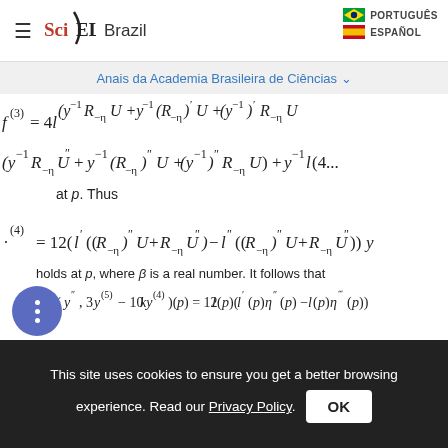SciELO Brazil | PORTUGUÊS | ESPAÑOL
Anais da Academia Brasileira de Ciências ∨
at p. Thus
holds at p, where β is a real number. It follows that